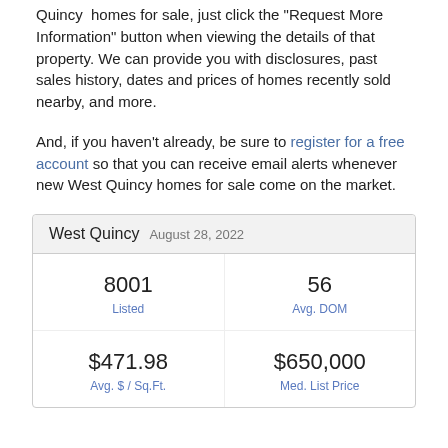Quincy homes for sale, just click the "Request More Information" button when viewing the details of that property. We can provide you with disclosures, past sales history, dates and prices of homes recently sold nearby, and more.
And, if you haven't already, be sure to register for a free account so that you can receive email alerts whenever new West Quincy homes for sale come on the market.
| West Quincy  August 28, 2022 |
| --- |
| 8001 Listed | 56 Avg. DOM |
| $471.98 Avg. $ / Sq.Ft. | $650,000 Med. List Price |